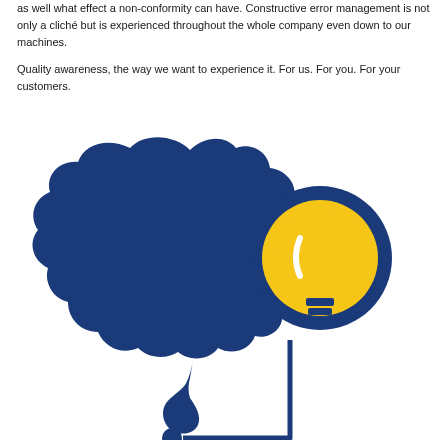as well what effect a non-conformity can have. Constructive error management is not only a cliché but is experienced throughout the whole company even down to our machines.
Quality awareness, the way we want to experience it. For us. For you. For your customers.
[Figure (illustration): An illustration of a dark blue brain silhouette connected via a blue cord/line to a yellow lightbulb icon with a dark blue sun-ray border, representing the connection between thinking and ideas.]